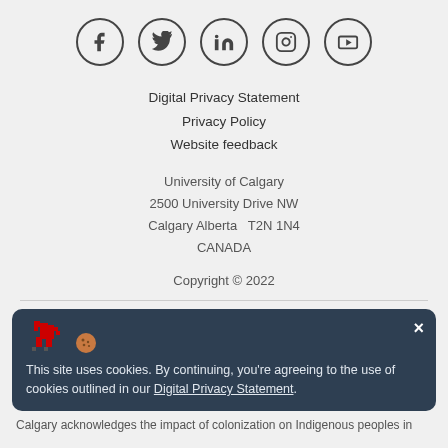[Figure (illustration): Social media icons in circles: Facebook, Twitter, LinkedIn, Instagram, YouTube]
Digital Privacy Statement
Privacy Policy
Website feedback
University of Calgary
2500 University Drive NW
Calgary Alberta   T2N 1N4
CANADA
Copyright © 2022
This site uses cookies. By continuing, you're agreeing to the use of cookies outlined in our Digital Privacy Statement.
Calgary acknowledges the impact of colonization on Indigenous peoples in